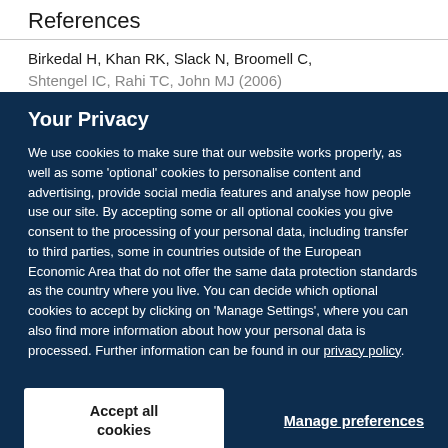References
Birkedal H, Khan RK, Slack N, Broomell C,
[cut off reference line]
Your Privacy
We use cookies to make sure that our website works properly, as well as some ‘optional’ cookies to personalise content and advertising, provide social media features and analyse how people use our site. By accepting some or all optional cookies you give consent to the processing of your personal data, including transfer to third parties, some in countries outside of the European Economic Area that do not offer the same data protection standards as the country where you live. You can decide which optional cookies to accept by clicking on ‘Manage Settings’, where you can also find more information about how your personal data is processed. Further information can be found in our privacy policy.
Accept all cookies
Manage preferences